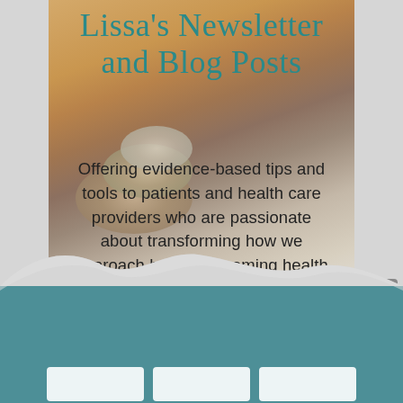[Figure (photo): A wellness/health themed image with stacked stones on a warm golden/amber background, serving as the backdrop for a newsletter signup card. A scroll-to-top button (gray, with upward chevron) is visible at the right side.]
Lissa's Newsletter and Blog Posts
Offering evidence-based tips and tools to patients and health care providers who are passionate about transforming how we approach health, becoming health care revolutionaries, reconnecting